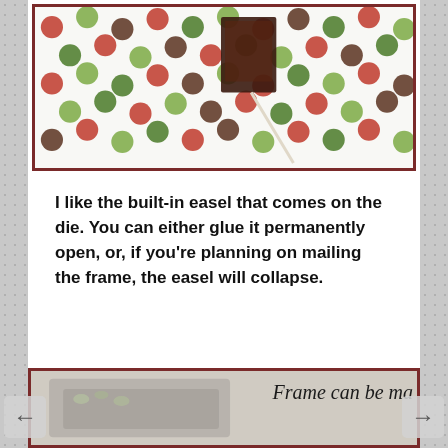[Figure (photo): Photo of a crafted paper frame with polka-dot pattern (red, green, brown circles on white background) standing upright with a built-in easel, shown from behind/side angle on a light surface.]
I like the built-in easel that comes on the die. You can either glue it permanently open, or, if you're planning on mailing the frame, the easel will collapse.
[Figure (photo): Photo of a decorative picture frame (partially visible, cut off on right) with italic text overlay reading 'Frame can be ma' and a gray/brown frame with floral embellishments below.]